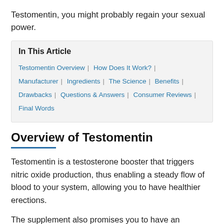Testomentin, you might probably regain your sexual power.
| In This Article |
| --- |
| Testomentin Overview | How Does It Work? | Manufacturer | Ingredients | The Science | Benefits | Drawbacks | Questions & Answers | Consumer Reviews | Final Words |
Overview of Testomentin
Testomentin is a testosterone booster that triggers nitric oxide production, thus enabling a steady flow of blood to your system, allowing you to have healthier erections.
The supplement also promises you to have an